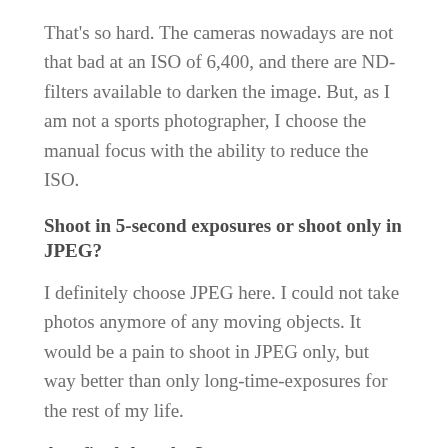That's so hard. The cameras nowadays are not that bad at an ISO of 6,400, and there are ND-filters available to darken the image. But, as I am not a sports photographer, I choose the manual focus with the ability to reduce the ISO.
Shoot in 5-second exposures or shoot only in JPEG?
I definitely choose JPEG here. I could not take photos anymore of any moving objects. It would be a pain to shoot in JPEG only, but way better than only long-time-exposures for the rest of my life.
Any final thoughts?
Thank you very much for the ability to reach so many